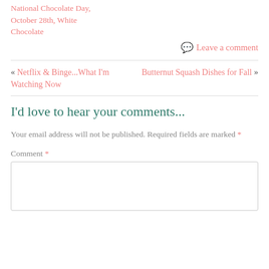National Chocolate Day, October 28th, White Chocolate
Leave a comment
« Netflix & Binge...What I'm Watching Now
Butternut Squash Dishes for Fall »
I'd love to hear your comments...
Your email address will not be published. Required fields are marked *
Comment *